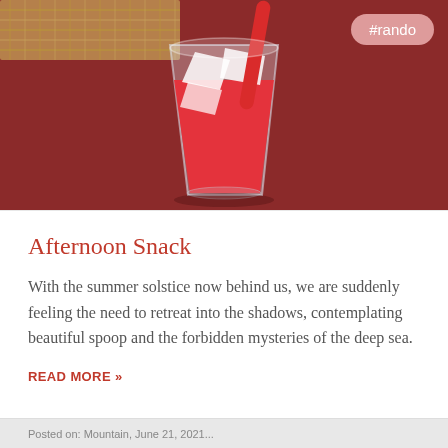[Figure (photo): Photo of a red drink in a glass with ice cubes and a red straw, placed on a dark red/brown surface. A woven mat is visible in the upper-left corner. A pink rounded tag reading '#rando' is in the upper-right corner.]
Afternoon Snack
With the summer solstice now behind us, we are suddenly feeling the need to retreat into the shadows, contemplating beautiful spoop and the forbidden mysteries of the deep sea.
READ MORE »
Posted on: Mountain, June 21, 2021...